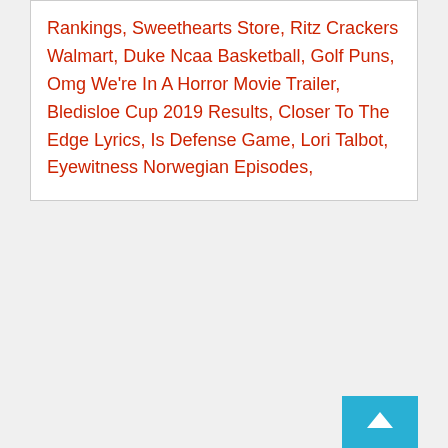Rankings, Sweethearts Store, Ritz Crackers Walmart, Duke Ncaa Basketball, Golf Puns, Omg We're In A Horror Movie Trailer, Bledisloe Cup 2019 Results, Closer To The Edge Lyrics, Is Defense Game, Lori Talbot, Eyewitness Norwegian Episodes,